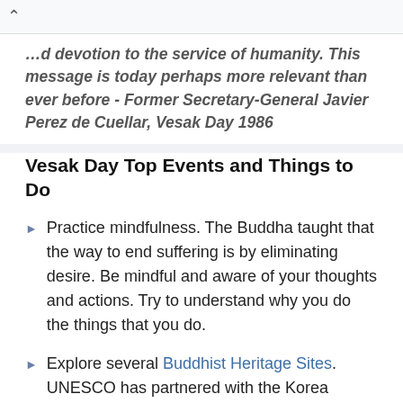...d devotion to the service of humanity. This message is today perhaps more relevant than ever before - Former Secretary-General Javier Perez de Cuellar, Vesak Day 1986
Vesak Day Top Events and Things to Do
Practice mindfulness. The Buddha taught that the way to end suffering is by eliminating desire. Be mindful and aware of your thoughts and actions. Try to understand why you do the things that you do.
Explore several Buddhist Heritage Sites. UNESCO has partnered with the Korea International Cooperation Agency to develop a project that promotes Buddhist heritage sites.
Watch an informative video that explains what